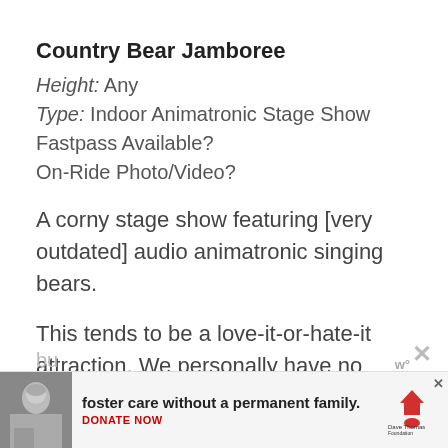Country Bear Jamboree
Height: Any
Type: Indoor Animatronic Stage Show
Fastpass Available?
On-Ride Photo/Video?
A corny stage show featuring [very outdated] audio animatronic singing bears.
This tends to be a love-it-or-hate-it attraction. We personally have no feeling no animosity toward these or any other bears,
[Figure (photo): Advertisement banner: photo of a person in winter clothing on left, text 'foster care without a permanent family.' with 'DONATE NOW' subtext in center, Dave Thomas Foundation for Adoption logo on right, with close button.]